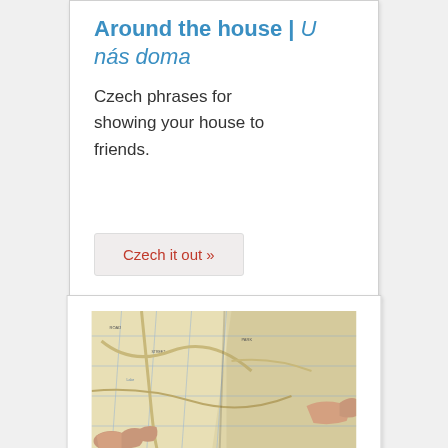Around the house | U nás doma
Czech phrases for showing your house to friends.
Czech it out »
[Figure (photo): Hands holding and reading an open paper map]